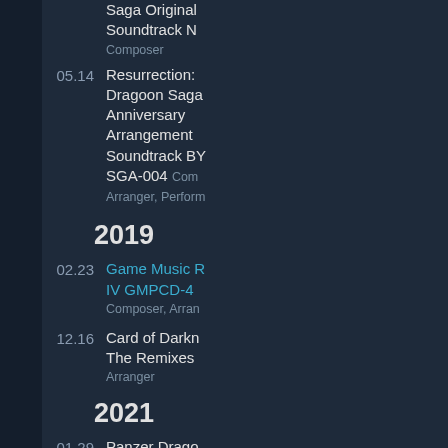Saga Original Soundtrack N— Composer
05.14 Resurrection: Dragoon Saga Anniversary Arrangement Soundtrack BY SGA-004 Composer, Arranger, Performer
2019
02.23 Game Music R— IV GMPCD-4 Composer, Arranger
12.16 Card of Darkness: The Remixes Arranger
2021
01.29 Panzer Dragoon Remake The Definitive Soundtrack GS-021 Arranger, Notes
03.24 GO SEGA - 60th ANNIVERSARY Album WM—